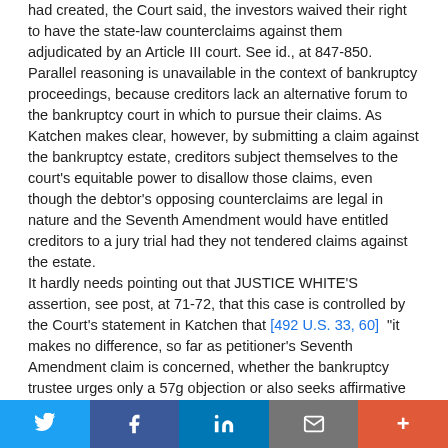had created, the Court said, the investors waived their right to have the state-law counterclaims against them adjudicated by an Article III court. See id., at 847-850. Parallel reasoning is unavailable in the context of bankruptcy proceedings, because creditors lack an alternative forum to the bankruptcy court in which to pursue their claims. As Katchen makes clear, however, by submitting a claim against the bankruptcy estate, creditors subject themselves to the court's equitable power to disallow those claims, even though the debtor's opposing counterclaims are legal in nature and the Seventh Amendment would have entitled creditors to a jury trial had they not tendered claims against the estate. It hardly needs pointing out that JUSTICE WHITE'S assertion, see post, at 71-72, that this case is controlled by the Court's statement in Katchen that [492 U.S. 33, 60]  "it makes no difference, so far as petitioner's Seventh Amendment claim is concerned, whether the bankruptcy trustee urges only a 57g objection or also seeks affirmative relief." 382 U.S., at
Twitter | Facebook | LinkedIn | Email | +